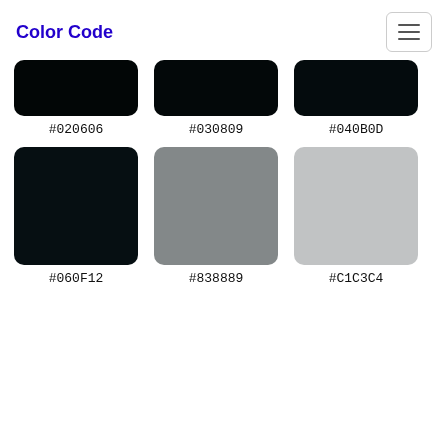Color Code
[Figure (infographic): Six color swatches arranged in two rows of three. Top row: #020606 (near black), #030809 (near black), #040B0D (near black). Bottom row: #060F12 (near black), #838889 (medium gray), #C1C3C4 (light gray). Each swatch is a rounded rectangle with its hex color code label below.]